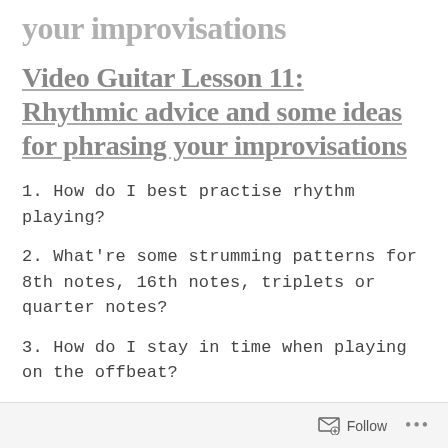your improvisations
Video Guitar Lesson 11: Rhythmic advice and some ideas for phrasing your improvisations
1. How do I best practise rhythm playing?
2. What’re some strumming patterns for 8th notes, 16th notes, triplets or quarter notes?
3. How do I stay in time when playing on the offbeat?
Follow •••